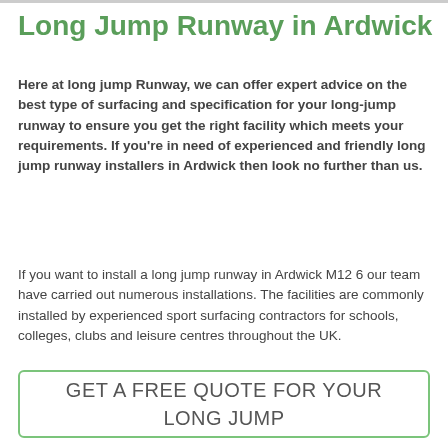Long Jump Runway in Ardwick
Here at long jump Runway, we can offer expert advice on the best type of surfacing and specification for your long-jump runway to ensure you get the right facility which meets your requirements. If you're in need of experienced and friendly long jump runway installers in Ardwick then look no further than us.
If you want to install a long jump runway in Ardwick M12 6 our team have carried out numerous installations. The facilities are commonly installed by experienced sport surfacing contractors for schools, colleges, clubs and leisure centres throughout the UK.
GET A FREE QUOTE FOR YOUR LONG JUMP